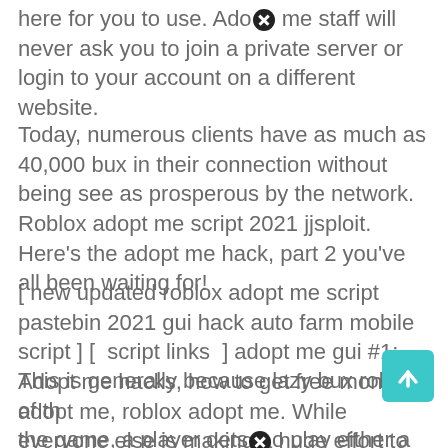here for you to use. Ado[x] me staff will never ask you to join a private server or login to your account on a different website.
Today, numerous clients have as much as 40,000 bux in their connection without being see as prosperous by the network. Roblox adopt me script 2021 jjsploit. Here's the adopt me hack, part 2 you've all been waiting for!
[ new updated roblox adopt me script pastebin 2021 gui hack auto farm mobile script ] [  script links  ] adopt me gui #1: Adopt me hacks, how to get free money in adopt me, roblox adopt me. While everyone else is making a huge effort to get bucks ,we strongly advise you not to spend the.
This is generally because lazy bux robux of the game, a player gets[x] to play either a parent